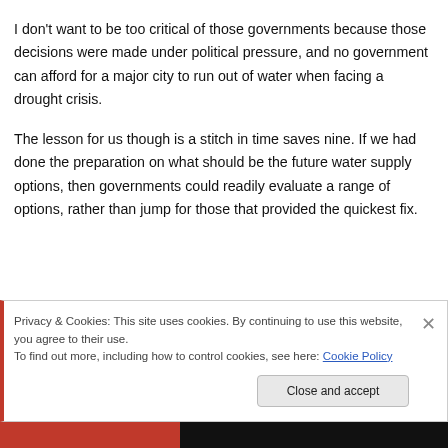I don't want to be too critical of those governments because those decisions were made under political pressure, and no government can afford for a major city to run out of water when facing a drought crisis.
The lesson for us though is a stitch in time saves nine. If we had done the preparation on what should be the future water supply options, then governments could readily evaluate a range of options, rather than jump for those that provided the quickest fix.
Privacy & Cookies: This site uses cookies. By continuing to use this website, you agree to their use.
To find out more, including how to control cookies, see here: Cookie Policy